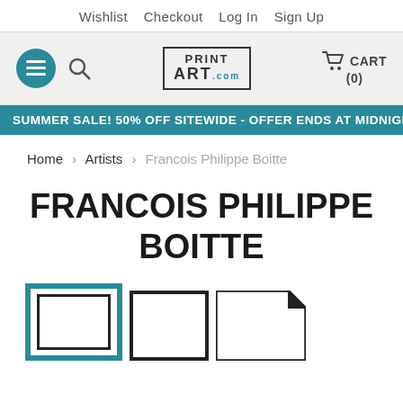Wishlist  Checkout  Log In  Sign Up
[Figure (screenshot): Website header bar with teal hamburger menu button, search icon, PRINT ART .com logo in a box, and cart icon with CART (0) text]
SUMMER SALE! 50% OFF SITEWIDE - OFFER ENDS AT MIDNIGHT
Home > Artists > Francois Philippe Boitte
FRANCOIS PHILIPPE BOITTE
[Figure (illustration): Three art print frame style icons: first with teal border and inner frame, second plain black border frame, third with folded corner design]